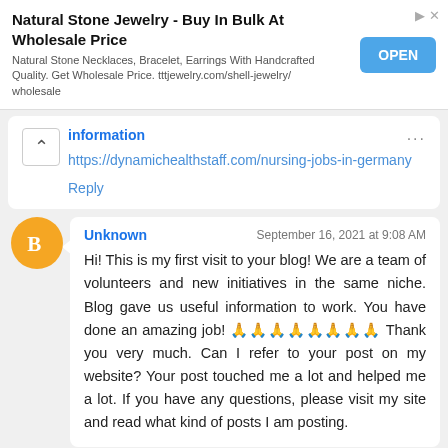[Figure (screenshot): Advertisement banner for Natural Stone Jewelry with OPEN button]
information
https://dynamichealthstaff.com/nursing-jobs-in-germany
Reply
Unknown
September 16, 2021 at 9:08 AM
Hi! This is my first visit to your blog! We are a team of volunteers and new initiatives in the same niche. Blog gave us useful information to work. You have done an amazing job! 🙏🙏🙏🙏🙏🙏🙏🙏 Thank you very much. Can I refer to your post on my website? Your post touched me a lot and helped me a lot. If you have any questions, please visit my site and read what kind of posts I am posting.